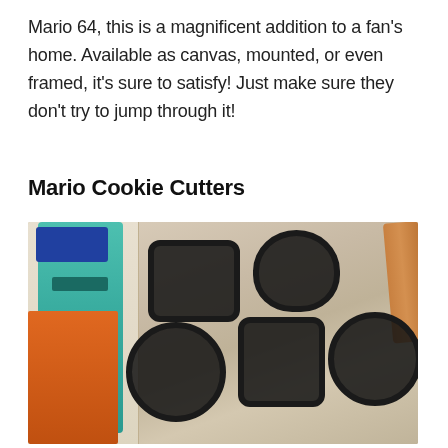Mario 64, this is a magnificent addition to a fan's home. Available as canvas, mounted, or even framed, it's sure to satisfy! Just make sure they don't try to jump through it!
Mario Cookie Cutters
[Figure (photo): Photo of five black Mario-themed cookie cutters laid out on a granite countertop, next to flour and sugar bags and a rolling pin in the background.]